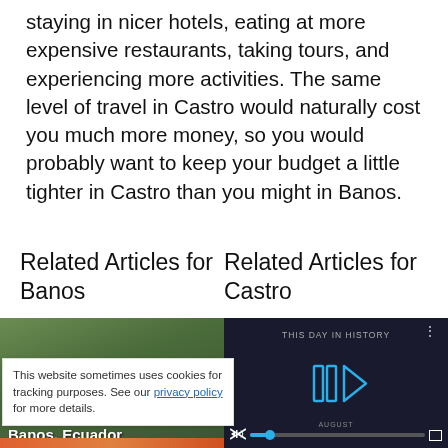staying in nicer hotels, eating at more expensive restaurants, taking tours, and experiencing more activities. The same level of travel in Castro would naturally cost you much more money, so you would probably want to keep your budget a little tighter in Castro than you might in Banos.
Related Articles for Banos
Related Articles for Castro
[Figure (photo): Thumbnail image of green hills/mountains with overlaid text 'The Best Hostels Banos, Ecuador']
[Figure (screenshot): Video player showing 'THIS DAY IN HISTORY' with play button controls and progress bar]
This website sometimes uses cookies for tracking purposes. See our privacy policy for more details.